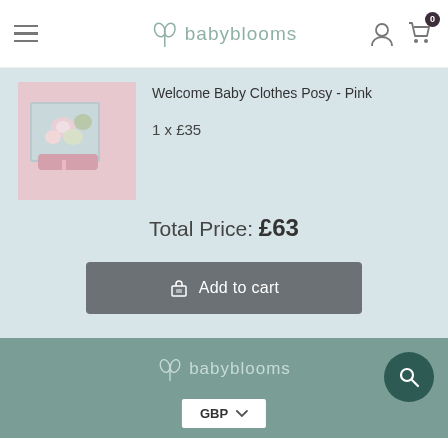babyblooms
Welcome Baby Clothes Posy - Pink
1 x £35
Total Price: £63
Add to cart
[Figure (screenshot): Baby blooms gift bouquet made of baby clothes in pink tones, displayed on a pink background]
babyblooms GBP